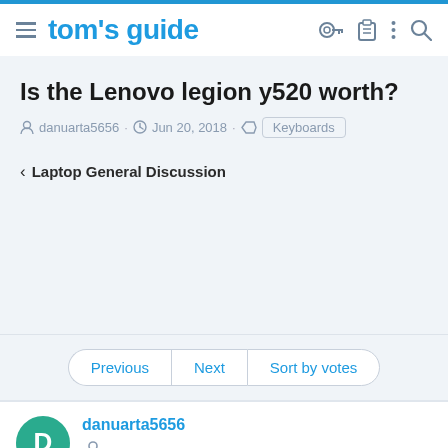tom's guide
Is the Lenovo legion y520 worth?
danuarta5656 · Jun 20, 2018 · Keyboards
< Laptop General Discussion
Previous | Next | Sort by votes
danuarta5656